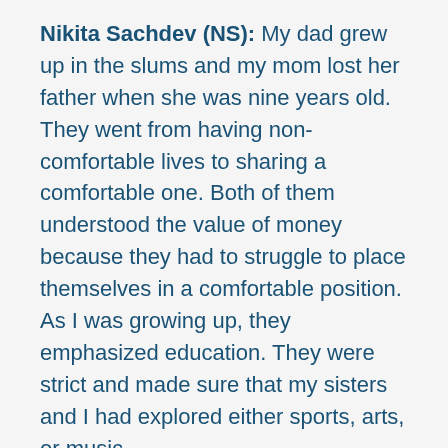Nikita Sachdev (NS): My dad grew up in the slums and my mom lost her father when she was nine years old. They went from having non-comfortable lives to sharing a comfortable one. Both of them understood the value of money because they had to struggle to place themselves in a comfortable position. As I was growing up, they emphasized education. They were strict and made sure that my sisters and I had explored either sports, arts, or music.
My parents were open-minded when I realized that I wanted to go into business. My dad was always chasing business...